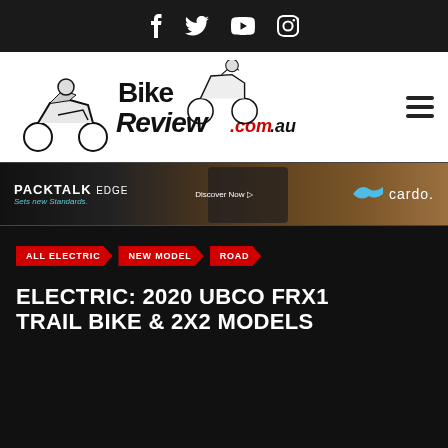Social media icons: Facebook, Twitter, YouTube, Instagram
[Figure (logo): BikeReview.com.au logo with motorcycle illustrations]
[Figure (infographic): PACKTALK EDGE advertisement banner by Cardo. Text: PACKTALK EDGE, Sets new Standards., Discover Now, cardo.]
ALL ELECTRIC
NEW MODEL
ROAD
ELECTRIC: 2020 UBCO FRX1 TRAIL BIKE & 2X2 MODELS